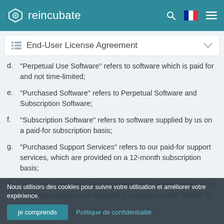reincubate
End-User License Agreement
d. "Perpetual Use Software" refers to software which is paid for and not time-limited;
e. "Purchased Software" refers to Perpetual Software and Subscription Software;
f. "Subscription Software" refers to software supplied by us on a paid-for subscription basis;
g. "Purchased Support Services" refers to our paid-for support services, which are provided on a 12-month subscription basis;
h. "we", "us", "our" and "Reincubate" refer to Reincubate Ltd, a company registered in England (company number 5189175);
Nous utilisors des cookies pour suivre votre utilisation et améliorer votre expérience.